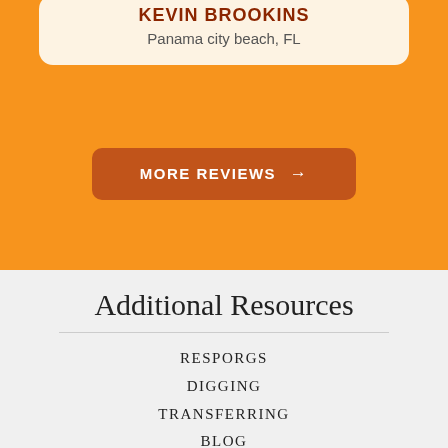Panama city beach, FL
MORE REVIEWS →
Additional Resources
RESPORGS
DIGGING
TRANSFERRING
BLOG